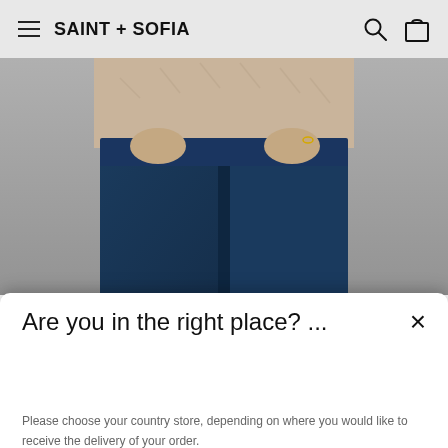SAINT + SOFIA
[Figure (photo): A person wearing dark blue jeans and a beige knit top, shown from waist down, pulling at the waistband of the jeans]
Are you in the right place? ...
EUROPE
Please choose your country store, depending on where you would like to receive the delivery of your order.